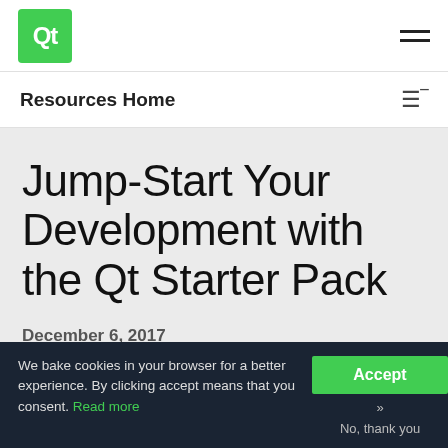[Figure (logo): Qt logo — white Qt text on green square background]
Resources Home
Jump-Start Your Development with the Qt Starter Pack
December 6, 2017
If you want to impress today's customers, you have to keep up
We bake cookies in your browser for a better experience. By clicking accept means that you consent. Read more